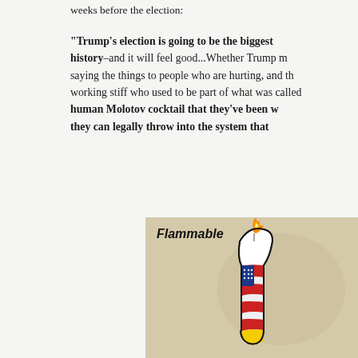weeks before the election:
“Trump’s election is going to be the biggest … history–and it will feel good…Whether Trump m… saying the things to people who are hurting, and th… working stiff who used to be part of what was calle… human Molotov cocktail that they’ve been w… they can legally throw into the system that …
[Figure (illustration): Cartoon illustration labeled 'Flammable' showing a figure wrapped in an American flag with colorful elements including red, blue, white, and yellow, against a tan/beige background. The figure appears to be a Molotov cocktail or bottle shaped like a person.]